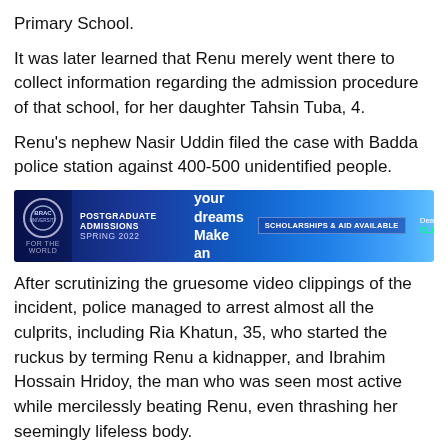Primary School.
It was later learned that Renu merely went there to collect information regarding the admission procedure of that school, for her daughter Tahsin Tuba, 4.
Renu's nephew Nasir Uddin filed the case with Badda police station against 400-500 unidentified people.
[Figure (other): Advertisement banner for BRAC University Postgraduate Admissions Spring 2022. Text reads: POSTGRADUATE ADMISSIONS SPRING 2022 | Live your dreams Make an Impact | SCHOLARSHIPS & AID AVAILABLE | Deadline: 3 January, 2022 CLICK HERE & APPLY!]
After scrutinizing the gruesome video clippings of the incident, police managed to arrest almost all the culprits, including Ria Khatun, 35, who started the ruckus by terming Renu a kidnapper, and Ibrahim Hossain Hridoy, the man who was seen most active while mercilessly beating Renu, even thrashing her seemingly lifeless body.
On August 27, the High Court issued a rule asking the government to explain why Tk1 crore compensation should not be given to the family of Renu.
The largest of the victim's family said they are...